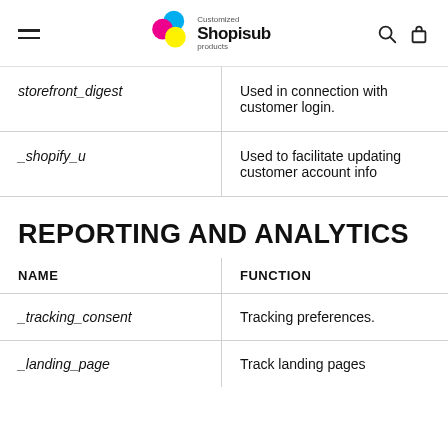Shopisub — Customized products
| NAME | FUNCTION |
| --- | --- |
| storefront_digest | Used in connection with customer login. |
| _shopify_u | Used to facilitate updating customer account info |
REPORTING AND ANALYTICS
| NAME | FUNCTION |
| --- | --- |
| _tracking_consent | Tracking preferences. |
| _landing_page | Track landing pages |